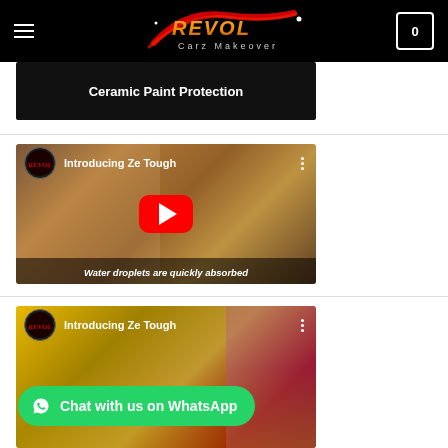[Figure (logo): Revol Carz Makeover logo on black header bar with hamburger menu and cart icon showing 0]
[Figure (screenshot): Partial video thumbnail showing 'Ceramic Paint Protection' text on black background]
[Figure (screenshot): YouTube embedded video thumbnail: Introducing Ze Tough, with red play button, channel icon, and bottom caption 'Water droplets are quickly absorbed']
[Figure (screenshot): YouTube embedded video thumbnail: Introducing Ze Tough, partially visible at bottom]
Chat with us on WhatsApp